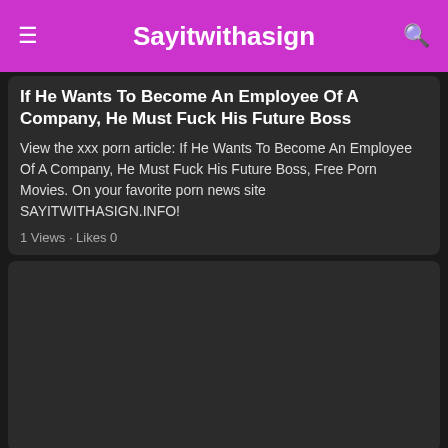Sayitwithasign
If He Wants To Become An Employee Of A Company, He Must Fuck His Future Boss
View the xxx porn article: If He Wants To Become An Employee Of A Company, He Must Fuck His Future Boss, Free Porn Movies. On your favorite porn news site SAYITWITHASIGN.INFO!
1 Views · Likes 0
[Figure (other): Dark placeholder image area for second article]
Two Men Fuck A Young Girl Who Sucks Both Of Th
View the xxx porn article: Two Men Fuck A Young Girl